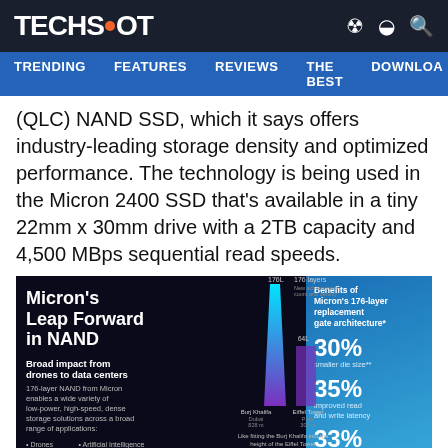TECHSPOT
TRENDING  FEATURES  REVIEWS  THE BEST  DOWNLOA
(QLC) NAND SSD, which it says offers industry-leading storage density and optimized performance. The technology is being used in the Micron 2400 SSD that's available in a tiny 22mm x 30mm drive with a 2TB capacity and 4,500 MBps sequential read speeds.
[Figure (infographic): Micron's Leap Forward in NAND infographic showing 176-layer NAND technology. Left panel: title 'Micron's Leap Forward in NAND', 'Broad impact from drones to data centers', list of applications (Drones, Phones, Consoles, Surveillance, Artificial Intelligence, Laptops, Automobiles, Data Centers). Center: comparison graphic showing 176L vs 64L layers compared to Burj Khalifa (828m) vs Eiffel Tower (300m Paris). Right panel: Benefits of Micron's 176-layer replacement gate architecture: 30% smaller die size, 35% improved read and write latency, 33% increase in transfer rate to 1,600 MT/s (ONFi bus).]